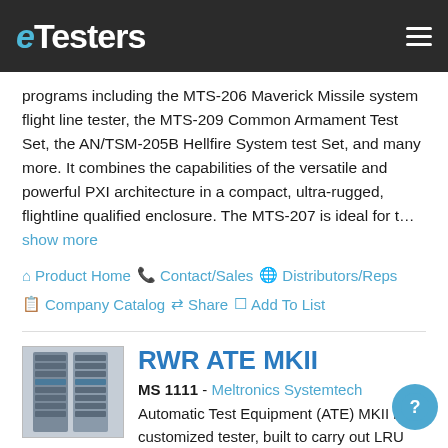eTesters
programs including the MTS-206 Maverick Missile system flight line tester, the MTS-209 Common Armament Test Set, the AN/TSM-205B Hellfire System test Set, and many more. It combines the capabilities of the versatile and powerful PXI architecture in a compact, ultra-rugged, flightline qualified enclosure. The MTS-207 is ideal for t... show more
Product Home
Contact/Sales
Distributors/Reps
Company Catalog
Share
Add To List
RWR ATE MKII
MS 1111 - Meltronics Systemtech
Automatic Test Equipment (ATE) MKII is a customized tester, built to carry out LRU and card level testing for TARANG systems of all platforms. The purpose of ATE is to provide a user-friendly environment to test the LRUs and sub-systems (individually) for their functionality, perform specific tests of each LRU / sub-system and Card Level